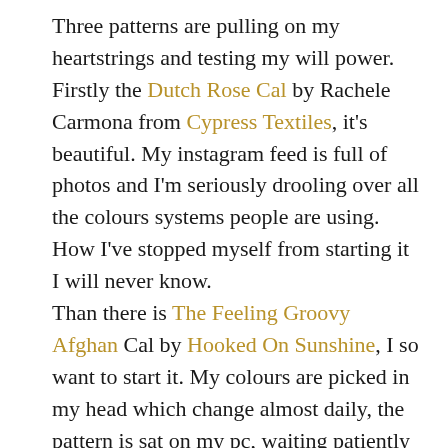Three patterns are pulling on my heartstrings and testing my will power. Firstly the Dutch Rose Cal by Rachele Carmona from Cypress Textiles, it's beautiful. My instagram feed is full of photos and I'm seriously drooling over all the colours systems people are using. How I've stopped myself from starting it I will never know.
Than there is The Feeling Groovy Afghan Cal by Hooked On Sunshine, I so want to start it. My colours are picked in my head which change almost daily, the pattern is sat on my pc, waiting patiently to be made and then there is the Callie Blanket, one again by Rachel Carmona from Cypress Textiles. I really, really need to make it for my youngest son Callum, it's even got the same name, well the name I